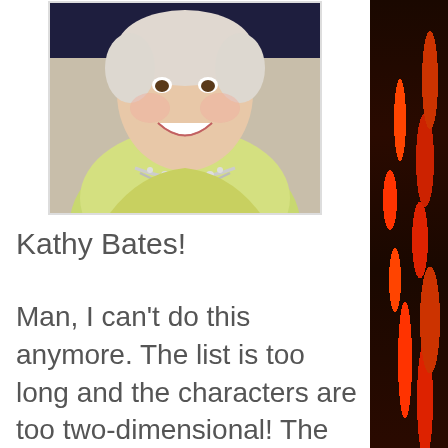[Figure (photo): Photo of Kathy Bates smiling, wearing a light green/yellow outfit and ornate necklace, against a dark background]
Kathy Bates!
Man, I can't do this anymore. The list is too long and the characters are too two-dimensional! The only way this movie could take anymore of a turn for